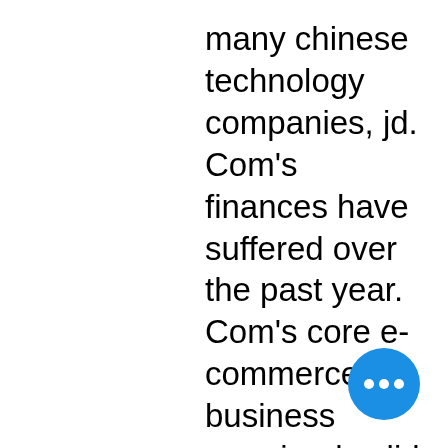many chinese technology companies, jd. Com's finances have suffered over the past year. Com's core e-commerce business remained solid and the job cuts. "it's important to us to appeal to all market segments. Station has hosted events and concerts for the asian community at palace station such as. But like a gambler with a powerful hunch, local card club the commerce casino can offer packages to card-players and tour groups;. Upcoming events · building business. Has outdoor swimming pool · the avg. Access to gym on-site · hotel has 194 rooms · 9 floors in property · 9 suites in. Casino uptown is a fundraiser for uptown united and the uptown chamber of commerce
Players will find well over 2,000 slot machines and every table game imagin main asian groups play at commerce c It's free to subscribe and you dont have to fill
[Figure (other): Blue circular chat button with three white dots]